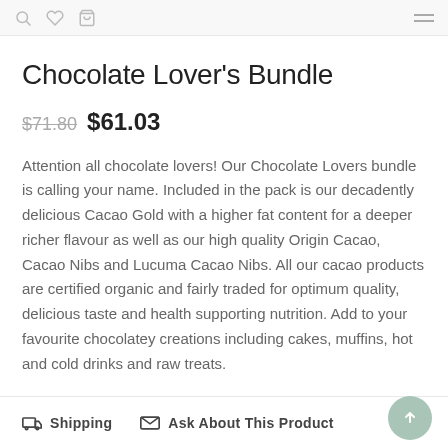[navigation icons: search, wishlist, cart, menu]
Chocolate Lover's Bundle
$71.80  $61.03
Attention all chocolate lovers! Our Chocolate Lovers bundle is calling your name. Included in the pack is our decadently delicious Cacao Gold with a higher fat content for a deeper richer flavour as well as our high quality Origin Cacao, Cacao Nibs and Lucuma Cacao Nibs. All our cacao products are certified organic and fairly traded for optimum quality, delicious taste and health supporting nutrition. Add to your favourite chocolatey creations including cakes, muffins, hot and cold drinks and raw treats.
Shipping  Ask About This Product